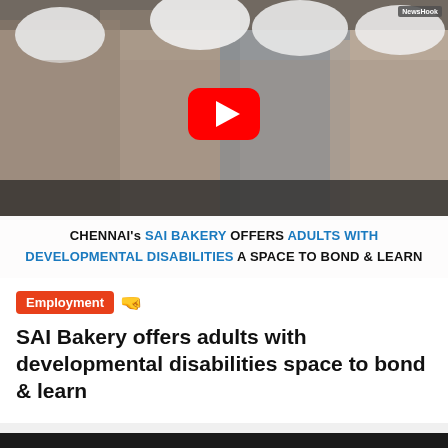[Figure (screenshot): YouTube video thumbnail showing group of people wearing chef hats and aprons. Text overlay reads: CHENNAI's SAI BAKERY OFFERS ADULTS WITH DEVELOPMENTAL DISABILITIES A SPACE TO BOND & LEARN. NewsHook badge in top right.]
Employment 🤜
SAI Bakery offers adults with developmental disabilities space to bond & learn
[Figure (screenshot): YouTube video thumbnail for DART, India's 1st research lab on ra... with orange DART logo circle icon, white text, three-dot menu, and scroll-to-top button. NewsHook badge visible.]